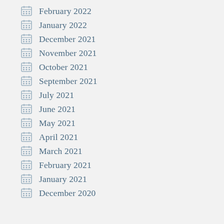February 2022
January 2022
December 2021
November 2021
October 2021
September 2021
July 2021
June 2021
May 2021
April 2021
March 2021
February 2021
January 2021
December 2020